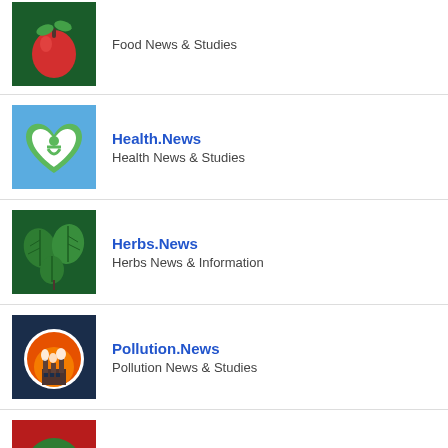[Figure (logo): Food.News logo: red apple with green leaves on dark green background]
Food News & Studies
[Figure (logo): Health.News logo: white heart with human figure on light blue background]
Health.News
Health News & Studies
[Figure (logo): Herbs.News logo: green leaves/plant on dark green background]
Herbs.News
Herbs News & Information
[Figure (logo): Pollution.News logo: factory with smoke in orange circle on dark blue background]
Pollution.News
Pollution News & Studies
[Figure (logo): Cancer.News logo: hands holding green circle on red background]
Cancer.News
Cancer News & Studies